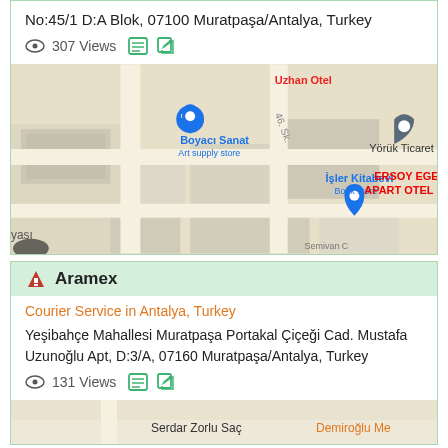No:45/1 D:A Blok, 07100 Muratpaşa/Antalya, Turkey
307 Views
[Figure (map): Google Maps screenshot showing Boyacı Sanat Art supply store, İşler Kitabevi Book store, Yörük Ticaret, Uzhan Otel, ERSOY EGE APART OTEL in Muratpaşa/Antalya area]
Aramex
Courier Service in Antalya, Turkey
Yeşibahçe Mahallesi Muratpaşa Portakal Çiçeği Cad. Mustafa Uzunoğlu Apt, D:3/A, 07160 Muratpaşa/Antalya, Turkey
131 Views
[Figure (map): Partial Google Maps screenshot showing Serdar Zorlu Saç and Demiroğlu Me labels at the bottom]